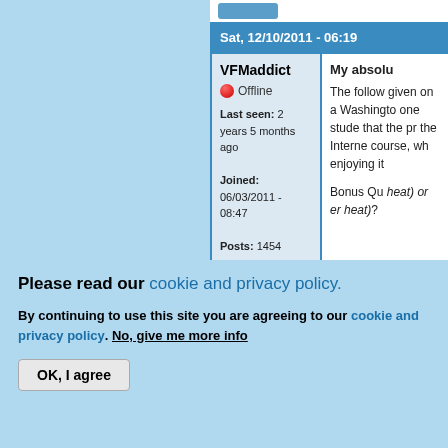Sat, 12/10/2011 - 06:19
VFMaddict
Offline
Last seen: 2 years 5 months ago
Joined: 06/03/2011 - 08:47
Posts: 1454
Location: London
My absolu

The follow given on a Washingto one stude that the pr the Interne course, wh enjoying it

Bonus Qu heat) or er heat)?
Please read our cookie and privacy policy.

By continuing to use this site you are agreeing to our cookie and privacy policy. No, give me more info

OK, I agree